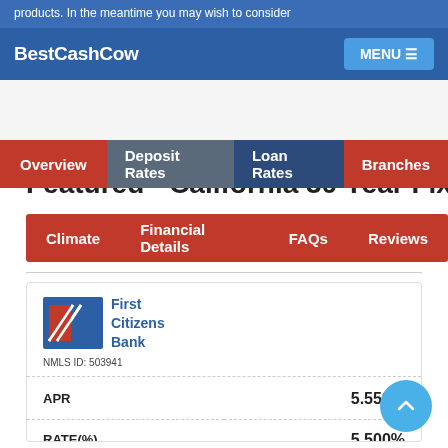products. In the meantime you may wish to consider
BestCashCow  MENU
Overview  Deposit Rates  Loan Rates  Branches
Featured - California 30 Year Fixed
Climate  Financial Details  FAQs  Reviews
| Field | Value |
| --- | --- |
| APR | 5.559% |
| RATE(%) | 5.500% |
| POINTS |  |
| FEES | $1,625 |